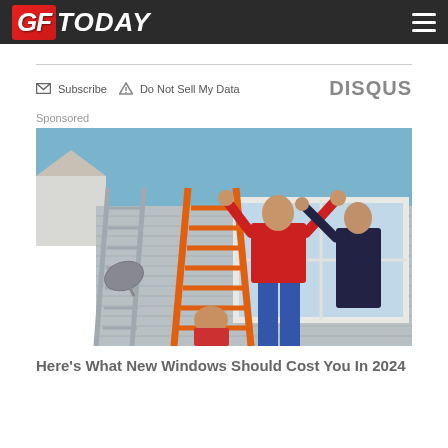GF TODAY
Subscribe   Do Not Sell My Data   DISQUS
Sponsored
[Figure (photo): Workers installing a window on a house exterior with gray siding. A person in a red shirt reaches up to install a large window while standing near an orange ladder. Another person crouches below.]
Here's What New Windows Should Cost You In 2024